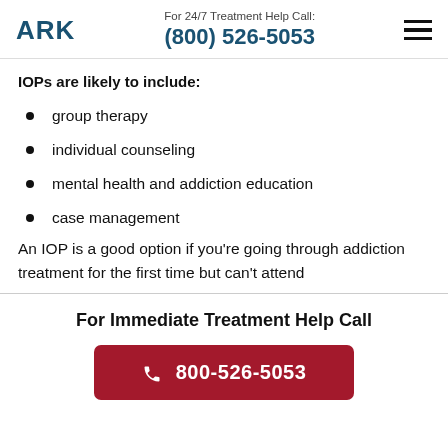ARK | For 24/7 Treatment Help Call: (800) 526-5053
IOPs are likely to include:
group therapy
individual counseling
mental health and addiction education
case management
An IOP is a good option if you're going through addiction treatment for the first time but can't attend
For Immediate Treatment Help Call
800-526-5053